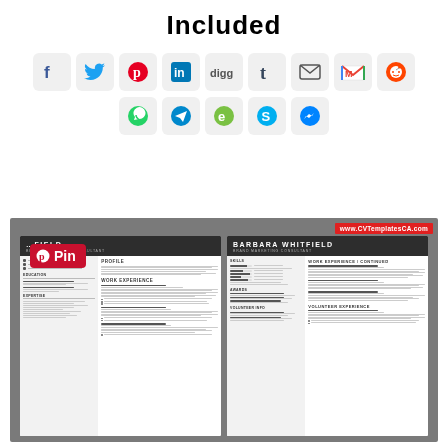Included
[Figure (infographic): Grid of social media sharing icons: Facebook, Twitter, Pinterest, LinkedIn, Digg, Tumblr, Email, Gmail, Reddit (top row); WhatsApp, Telegram, Evernote, Skype, Messenger (bottom row)]
[Figure (illustration): CV/Resume template preview showing two pages of a resume for 'Barbara Whitfield - Brand Marketing Consultant' with sections for Profile, Work Experience, Skills, Awards, Volunteer Info on a dark gray background. A Pinterest 'Pin' badge overlays the top-left. A www.CVTemplatesCA.com watermark appears top-right.]